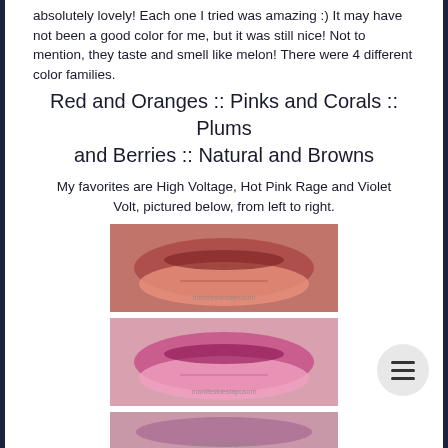absolutely lovely! Each one I tried was amazing :) It may have not been a good color for me, but it was still nice! Not to mention, they taste and smell like melon! There were 4 different color families.
Red and Oranges :: Pinks and Corals :: Plums and Berries :: Natural and Browns
My favorites are High Voltage, Hot Pink Rage and Violet Volt, pictured below, from left to right.
[Figure (photo): Close-up of lips wearing a red/warm-toned lipstick with watermark text]
[Figure (photo): Close-up of lips wearing a hot pink lipstick with watermark text]
[Figure (photo): Close-up of lips wearing a third lipstick shade, partially visible, with watermark text]